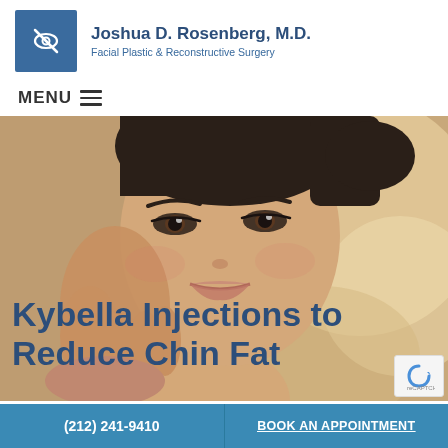[Figure (logo): Eye icon logo in dark blue square]
Joshua D. Rosenberg, M.D.
Facial Plastic & Reconstructive Surgery
MENU≡
[Figure (photo): Close-up portrait of a woman touching her face against a warm beige/gold background, overlaid with text 'Kybella Injections to Reduce Chin Fat']
(212) 241-9410
BOOK AN APPOINTMENT